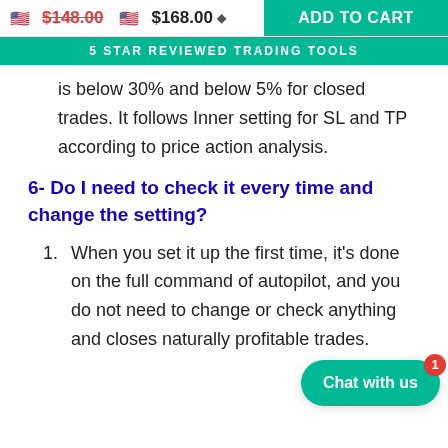🇺🇸 $148.00   🇺🇸 $168.00 ▼   ADD TO CART
5 STAR REVIEWED TRADING TOOLS
is below 30% and below 5% for closed trades. It follows Inner setting for SL and TP according to price action analysis.
6- Do I need to check it every time and change the setting?
When you set it up the first time, it's done on the full command of autopilot, and you do not need to change or check anything and closes naturally profitable trades.